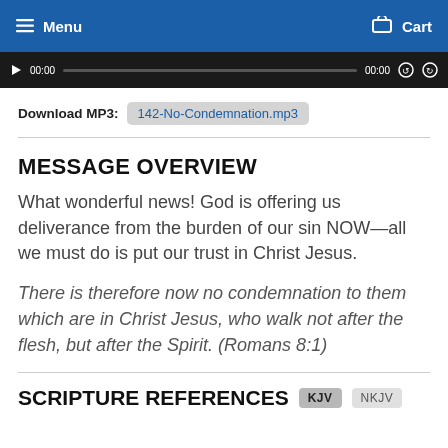Menu  Cart
[Figure (screenshot): Audio player bar with play button, time display 00:00, progress bar, and control icons]
Download MP3:  142-No-Condemnation.mp3
MESSAGE OVERVIEW
What wonderful news! God is offering us deliverance from the burden of our sin NOW—all we must do is put our trust in Christ Jesus.
There is therefore now no condemnation to them which are in Christ Jesus, who walk not after the flesh, but after the Spirit. (Romans 8:1)
SCRIPTURE REFERENCES  KJV  NKJV